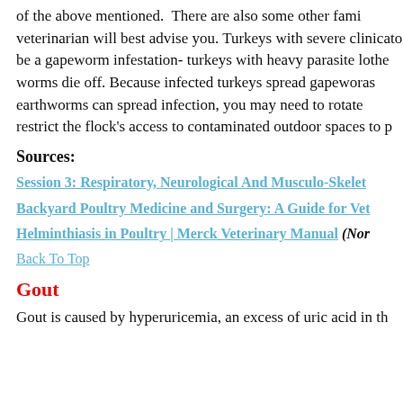of the above mentioned.  There are also some other family... veterinarian will best advise you. Turkeys with severe clinical... to be a gapeworm infestation- turkeys with heavy parasite lo... the worms die off. Because infected turkeys spread gapewor... as earthworms can spread infection, you may need to rotate... restrict the flock's access to contaminated outdoor spaces to p...
Sources:
Session 3: Respiratory, Neurological And Musculo-Skelet...
Backyard Poultry Medicine and Surgery: A Guide for Ve...
Helminthiasis in Poultry | Merck Veterinary Manual (Nor...
Back To Top
Gout
Gout is caused by hyperuricemia, an excess of uric acid in th...